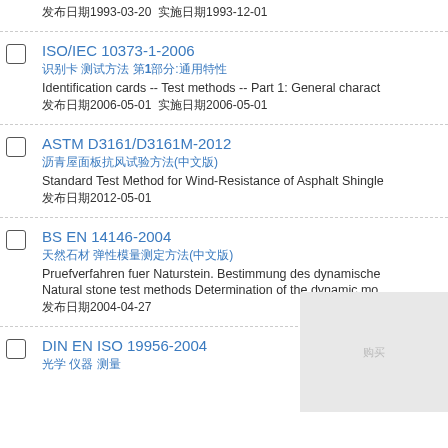发布日期1993-03-20  实施日期1993-12-01
ISO/IEC 10373-1-2006
识别卡 测试方法 第1部分:通用特性
Identification cards -- Test methods -- Part 1: General charact
发布日期2006-05-01  实施日期2006-05-01
ASTM D3161/D3161M-2012
沥青屋面板抗风试验方法(中文版)
Standard Test Method for Wind-Resistance of Asphalt Shingle
发布日期2012-05-01
BS EN 14146-2004
天然石材 弹性模量测定方法(中文版)
Pruefverfahren fuer Naturstein. Bestimmung des dynamische
Natural stone test methods Determination of the dynamic mo
发布日期2004-04-27
DIN EN ISO 19956-2004
光学 仪器 测量